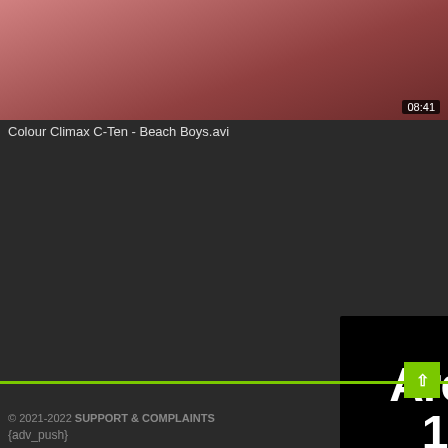[Figure (screenshot): Video thumbnail showing a pinkish-red blurred image with timestamp 08:41 in bottom right corner]
Colour Climax C-Ten - Beach Boys.avi
[Figure (screenshot): Black advertisement overlay with text 'Are you 18+?', 'Click to watch ads', and a YES button with white border. Has close button in top right corner.]
© 2021-2022 SUPPORT & COMPLAINTS
{adv_push}